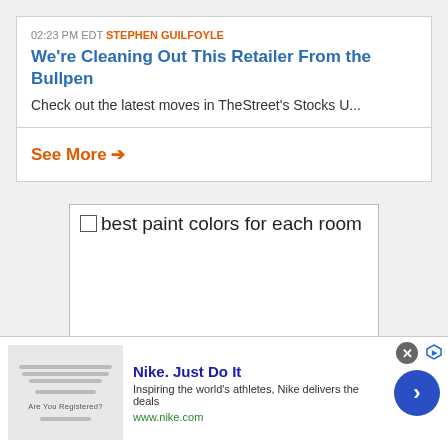02:23 PM EDT STEPHEN GUILFOYLE
We're Cleaning Out This Retailer From the Bullpen
Check out the latest moves in TheStreet's Stocks U...
See More →
[Figure (screenshot): Search input box with text 'best paint colors for each room' and a checkbox on the left]
[Figure (screenshot): Advertisement bar for Nike: 'Nike. Just Do It' with tagline 'Inspiring the world's athletes, Nike delivers the deals', URL www.nike.com, with close button and navigation arrow]